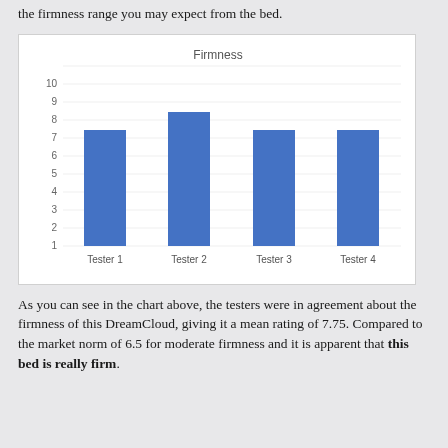the firmness range you may expect from the bed.
[Figure (bar-chart): Firmness]
As you can see in the chart above, the testers were in agreement about the firmness of this DreamCloud, giving it a mean rating of 7.75. Compared to the market norm of 6.5 for moderate firmness and it is apparent that this bed is really firm.